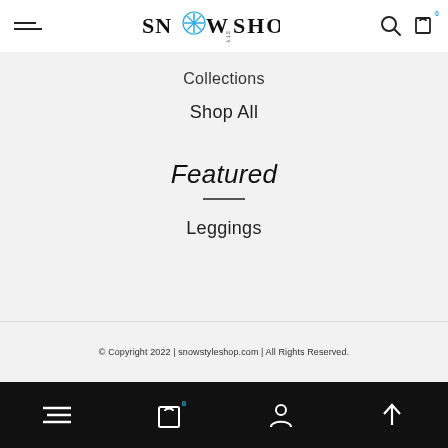Snow Style Shop navigation header with hamburger menu, logo, search and cart icons
Collections
Shop All
Featured
Leggings
© Copyright 2022 | snowstyleshop.com | All Rights Reserved.
Bottom navigation bar with menu, cart (0), profile, and scroll-to-top icons